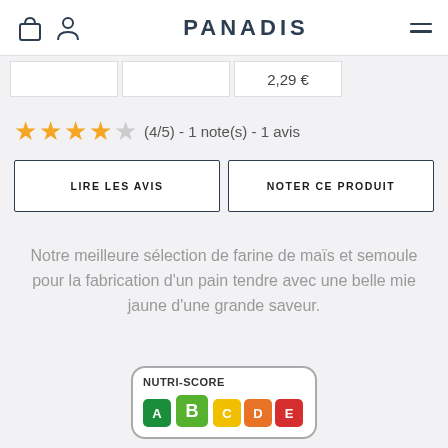PANADIS
2,29 €
(4/5) - 1 note(s) - 1 avis
LIRE LES AVIS
NOTER CE PRODUIT
Notre meilleure sélection de farine de maïs et semoule pour la fabrication d'un pain tendre avec une belle mie jaune d'une grande saveur.
[Figure (infographic): Nutri-Score badge showing rating B, with letters A (dark green), B (green, highlighted/largest), C (yellow), D (orange), E (red)]